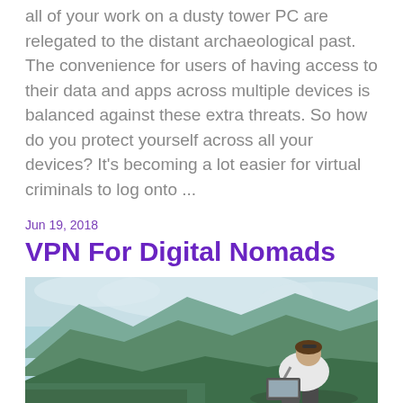all of your work on a dusty tower PC are relegated to the distant archaeological past. The convenience for users of having access to their data and apps across multiple devices is balanced against these extra threats. So how do you protect yourself across all your devices? It's becoming a lot easier for virtual criminals to log onto ...
Jun 19, 2018
VPN For Digital Nomads
[Figure (photo): A person sitting outdoors with a laptop, viewed from behind, looking out over a mountainous landscape with a valley and cloudy sky.]